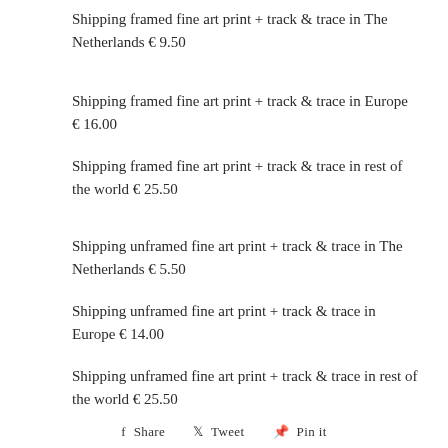Shipping framed fine art print + track & trace in The Netherlands € 9.50
Shipping framed fine art print + track & trace in Europe € 16.00
Shipping framed fine art print + track & trace in rest of the world € 25.50
Shipping unframed fine art print + track & trace in The Netherlands € 5.50
Shipping unframed fine art print + track & trace in Europe € 14.00
Shipping unframed fine art print + track & trace in rest of the world € 25.50
f Share   Tweet   Pin it